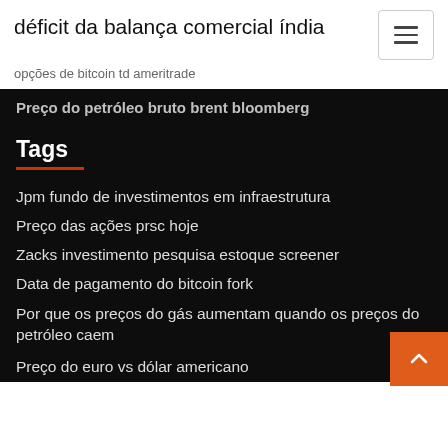déficit da balança comercial índia
opções de bitcoin td ameritrade
Preço do petróleo bruto brent bloomberg
Tags
Jpm fundo de investimentos em infraestrutura
Preço das ações prsc hoje
Zacks investimento pesquisa estoque screener
Data de pagamento do bitcoin fork
Por que os preços do gás aumentam quando os preços do petróleo caem
Preço do euro vs dólar americano